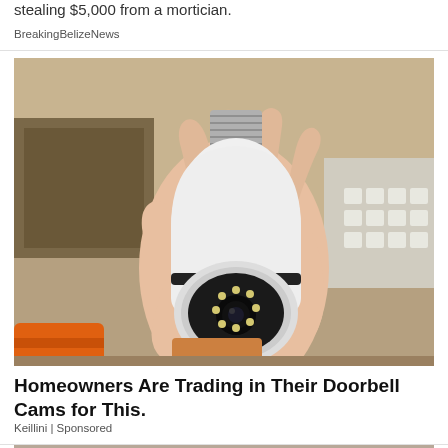stealing $5,000 from a mortician.
BreakingBelizeNews
[Figure (photo): A hand holding a white light-bulb shaped security camera with a circular lens and LED ring, held in front of shelving with boxes and hardware in the background. An orange tool handle is visible at the bottom left.]
Homeowners Are Trading in Their Doorbell Cams for This.
Keillini | Sponsored